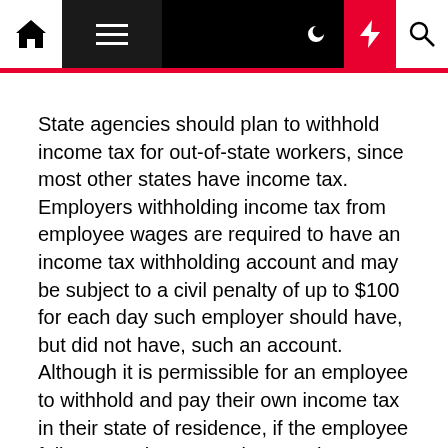Navigation bar with home, menu, moon, bolt, and search icons
State agencies should plan to withhold income tax for out-of-state workers, since most other states have income tax. Employers withholding income tax from employee wages are required to have an income tax withholding account and may be subject to a civil penalty of up to $100 for each day such employer should have, but did not have, such an account. Although it is permissible for an employee to withhold and pay their own income tax in their state of residence, if the employee fails to pay the appropriate tax the onus will be on the employer to address the taxes due if a compliance issue arises. To avoid this complication and the risk of financial penalties, Washington state agencies should proactively withhold payroll taxes.